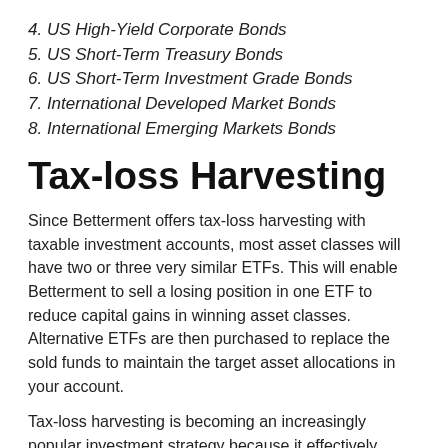4. US High-Yield Corporate Bonds
5. US Short-Term Treasury Bonds
6. US Short-Term Investment Grade Bonds
7. International Developed Market Bonds
8. International Emerging Markets Bonds
Tax-loss Harvesting
Since Betterment offers tax-loss harvesting with taxable investment accounts, most asset classes will have two or three very similar ETFs. This will enable Betterment to sell a losing position in one ETF to reduce capital gains in winning asset classes. Alternative ETFs are then purchased to replace the sold funds to maintain the target asset allocations in your account.
Tax-loss harvesting is becoming an increasingly popular investment strategy because it effectively defers capital gains taxes into future years. It’s available only for taxable accounts, since tax-sheltered accounts have no immediate tax